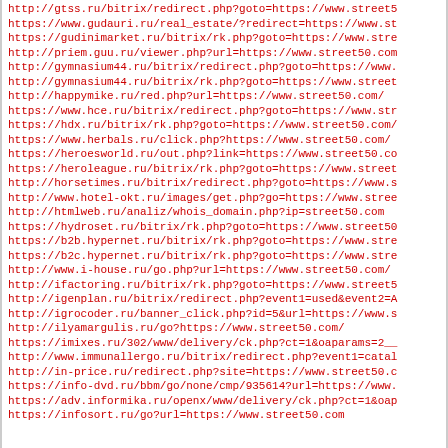http://gtss.ru/bitrix/redirect.php?goto=https://www.street5
https://www.gudauri.ru/real_estate/?redirect=https://www.st
https://gudinimarket.ru/bitrix/rk.php?goto=https://www.stre
http://priem.guu.ru/viewer.php?url=https://www.street50.com
http://gymnasium44.ru/bitrix/redirect.php?goto=https://www.
http://gymnasium44.ru/bitrix/rk.php?goto=https://www.street
http://happymike.ru/red.php?url=https://www.street50.com/
https://www.hce.ru/bitrix/redirect.php?goto=https://www.str
https://hdx.ru/bitrix/rk.php?goto=https://www.street50.com/
https://www.herbals.ru/click.php?https://www.street50.com/
https://heroesworld.ru/out.php?link=https://www.street50.co
https://heroleague.ru/bitrix/rk.php?goto=https://www.street
http://horsetimes.ru/bitrix/redirect.php?goto=https://www.s
http://www.hotel-okt.ru/images/get.php?go=https://www.stree
http://htmlweb.ru/analiz/whois_domain.php?ip=street50.com
https://hydroset.ru/bitrix/rk.php?goto=https://www.street50
https://b2b.hypernet.ru/bitrix/rk.php?goto=https://www.stre
https://b2c.hypernet.ru/bitrix/rk.php?goto=https://www.stre
http://www.i-house.ru/go.php?url=https://www.street50.com/
http://ifactoring.ru/bitrix/rk.php?goto=https://www.street5
http://igenplan.ru/bitrix/redirect.php?event1=used&event2=A
http://igrocoder.ru/banner_click.php?id=5&url=https://www.s
http://ilyamargulis.ru/go?https://www.street50.com/
https://imixes.ru/302/www/delivery/ck.php?ct=1&oaparams=2__
http://www.immunallergo.ru/bitrix/redirect.php?event1=catal
http://in-price.ru/redirect.php?site=https://www.street50.c
https://info-dvd.ru/bbm/go/none/cmp/935614?url=https://www.
https://adv.informika.ru/openx/www/delivery/ck.php?ct=1&oap
https://infosort.ru/go?url=https://www.street50.com